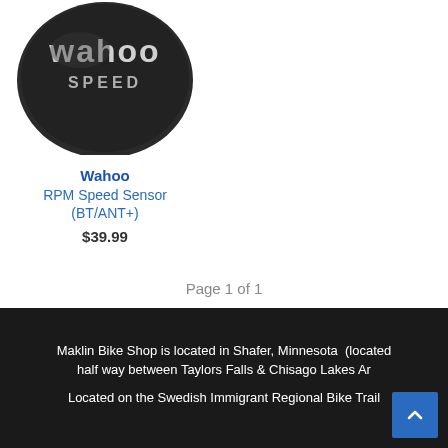[Figure (photo): Wahoo RPM Speed Sensor device shown from above, black circular sensor with 'wahoo SPEED' text on it]
Wahoo
RPM Speed Sensor (BT/ANT+)
$39.99
Page 1 of 1
Maklin Bike Shop is located in Shafer, Minnesota (located half way between Taylors Falls & Chisago Lakes Ar... Located on the Swedish Immigrant Regional Bike Trail